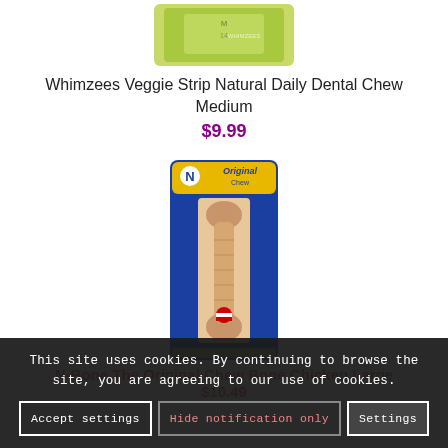[Figure (photo): Whimzees Veggie Strip Natural Daily Dental Chew Medium product package image at top]
Whimzees Veggie Strip Natural Daily Dental Chew Medium
$9.99
[Figure (photo): N-Bone The Original Chew Bone Chicken Large product package image]
N-Bone The Original Chew Bone Chicken Large
$10.49
This site uses cookies. By continuing to browse the site, you are agreeing to our use of cookies.
Accept settings
Hide notification only
Settings